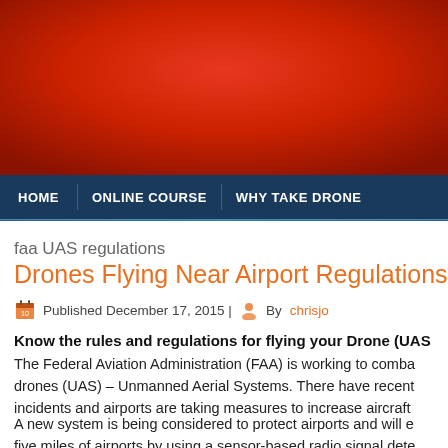[Figure (photo): Red gradient header banner for a drone regulations website]
HOME | ONLINE COURSE | WHY TAKE DRONE
faa UAS regulations
Drones Flying Near Airport Regulations
Published December 17, 2015 | By chrisjo
Know the rules and regulations for flying your Drone (UAS
The Federal Aviation Administration (FAA) is working to combat drones (UAS) – Unmanned Aerial Systems. There have recent incidents and airports are taking measures to increase aircraft
A new system is being considered to protect airports and will e five miles of airports by using a sensor-based radio signal dete